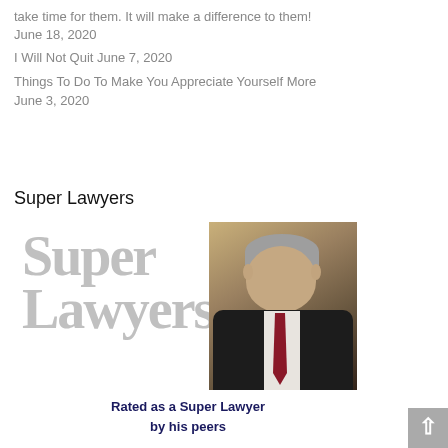take time for them. It will make a difference to them!
June 18, 2020
I Will Not Quit June 7, 2020
Things To Do To Make You Appreciate Yourself More June 3, 2020
Super Lawyers
[Figure (photo): Super Lawyers logo text in large grey serif font alongside a professional headshot photo of a man in a dark suit with a red tie, grey hair, against a brown/gold background. Below is the text 'Rated as a Super Lawyer by his peers' in bold dark navy.]